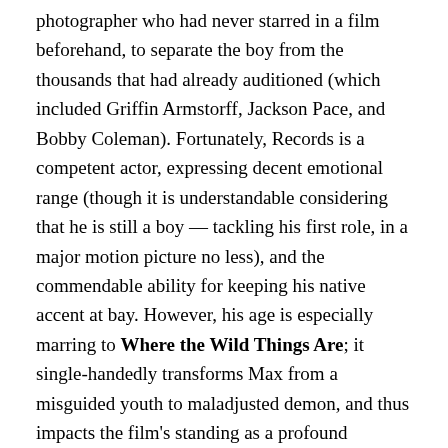photographer who had never starred in a film beforehand, to separate the boy from the thousands that had already auditioned (which included Griffin Armstorff, Jackson Pace, and Bobby Coleman). Fortunately, Records is a competent actor, expressing decent emotional range (though it is understandable considering that he is still a boy — tackling his first role, in a major motion picture no less), and the commendable ability for keeping his native accent at bay. However, his age is especially marring to Where the Wild Things Are; it single-handedly transforms Max from a misguided youth to maladjusted demon, and thus impacts the film's standing as a profound adventure into a youngster's subconscious. He bites, destroys property, and runs around maniacally, in other words, he throws tantrums. It is a completely understandable aspect of maturation, though Edgar and Jonze's oversaturated script is chock full of superfluous plot points, meant to both compensate for Record's older